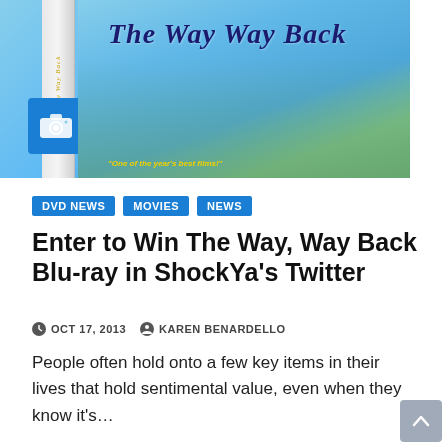[Figure (photo): Movie cover image for 'The Way Way Back' Blu-ray/DVD, showing a teenage boy wearing aviator sunglasses with movie title reflected in lenses, against a summer amusement park background. DVD spine visible on left side. Camera icon overlay in bottom-left of image area.]
DVD NEWS
MOVIES
NEWS
Enter to Win The Way, Way Back Blu-ray in ShockYa's Twitter
OCT 17, 2013   KAREN BENARDELLO
People often hold onto a few key items in their lives that hold sentimental value, even when they know it's…